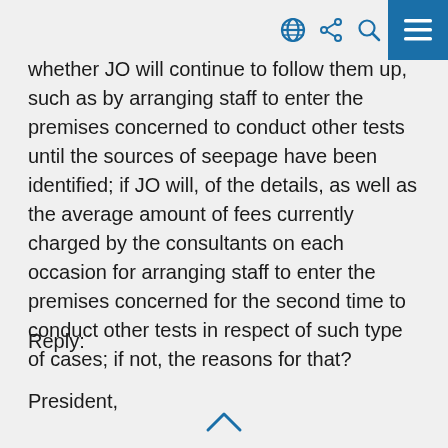whether JO will continue to follow them up, such as by arranging staff to enter the premises concerned to conduct other tests until the sources of seepage have been identified; if JO will, of the details, as well as the average amount of fees currently charged by the consultants on each occasion for arranging staff to enter the premises concerned for the second time to conduct other tests in respect of such type of cases; if not, the reasons for that?
Reply:
President,